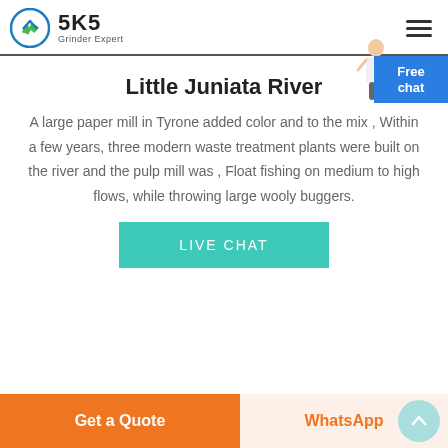SKS Grinder Expert
Little Juniata River
A large paper mill in Tyrone added color and to the mix . Within a few years, three modern waste treatment plants were built on the river and the pulp mill was , Float fishing on medium to high flows, while throwing large wooly buggers.
LIVE CHAT
Get a Quote   WhatsApp